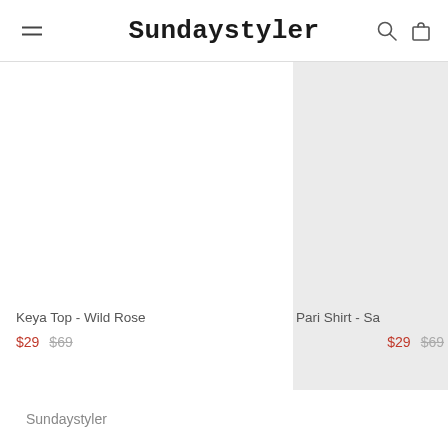Sundaystyler
[Figure (photo): Product photo area for Keya Top - Wild Rose, white background]
Keya Top - Wild Rose
$29  $69
[Figure (photo): Partial product photo for Pari Shirt, light gray background]
Pari Shirt - Sa...
$29  $69
Sundaystyler